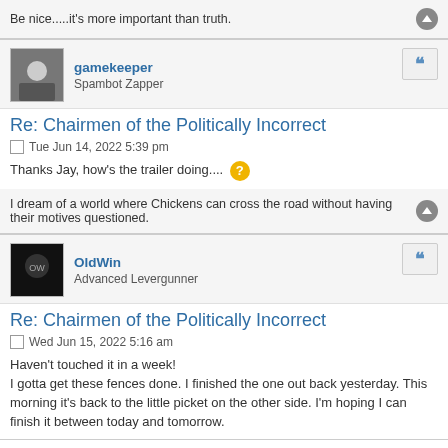Be nice.....it's more important than truth.
gamekeeper
Spambot Zapper
Re: Chairmen of the Politically Incorrect
Tue Jun 14, 2022 5:39 pm
Thanks Jay, how's the trailer doing....
I dream of a world where Chickens can cross the road without having their motives questioned.
OldWin
Advanced Levergunner
Re: Chairmen of the Politically Incorrect
Wed Jun 15, 2022 5:16 am
Haven't touched it in a week!
I gotta get these fences done. I finished the one out back yesterday. This morning it's back to the little picket on the other side. I'm hoping I can finish it between today and tomorrow.